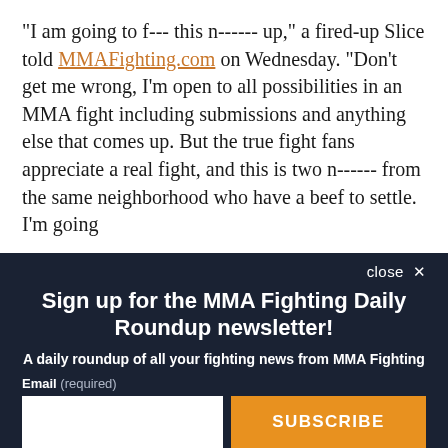"I am going to f--- this n------ up," a fired-up Slice told MMAFighting.com on Wednesday. "Don't get me wrong, I'm open to all possibilities in an MMA fight including submissions and anything else that comes up. But the true fight fans appreciate a real fight, and this is two n------ from the same neighborhood who have a beef to settle. I'm going
close ✕
Sign up for the MMA Fighting Daily Roundup newsletter!
A daily roundup of all your fighting news from MMA Fighting
Email (required)
SUBSCRIBE
By submitting your email, you agree to our Terms and Privacy Notice. You can opt out at any time. This site is protected by reCAPTCHA and the Google Privacy Policy and Terms of Service apply.